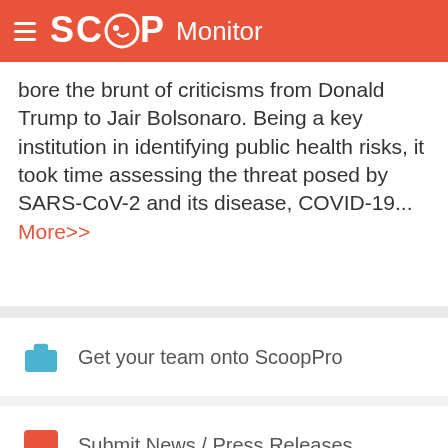SCOOP Monitor
bore the brunt of criticisms from Donald Trump to Jair Bolsonaro. Being a key institution in identifying public health risks, it took time assessing the threat posed by SARS-CoV-2 and its disease, COVID-19... More>>
Get your team onto ScoopPro
Submit News / Press Releases
ScoopCitizen / Become a Supporter